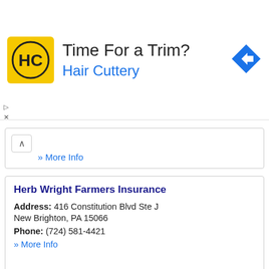[Figure (logo): Hair Cuttery advertisement banner with HC logo in yellow square, text 'Time For a Trim?' and 'Hair Cuttery' in blue, navigation arrow icon on right]
» More Info
Herb Wright Farmers Insurance
Address: 416 Constitution Blvd Ste J
New Brighton, PA 15066
Phone: (724) 581-4421
» More Info
Paul Matthias
Address: 1432 3rd Avenue
New Brighton, PA 15066